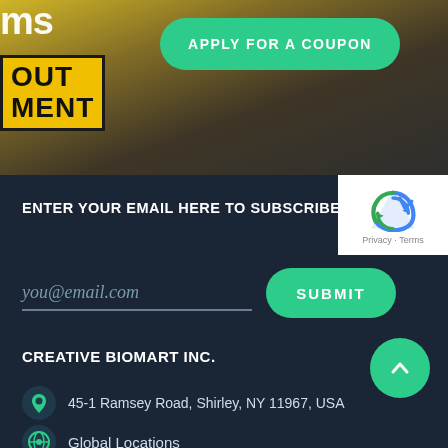[Figure (screenshot): Top banner with dark/golden toned background showing partial text 'ms' and a yellow sign with 'OUT MENT' and a hand holding a phone]
APPLY FOR A COUPON
ENTER YOUR EMAIL HERE TO SUBSCRIBE.
you@email.com
SUBMIT
CREATIVE BIOMART INC.
45-1 Ramsey Road, Shirley, NY 11967, USA
Global Locations